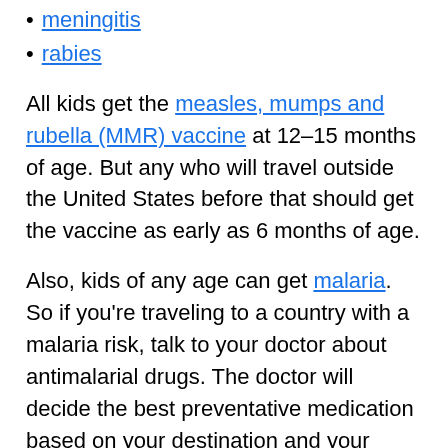meningitis
rabies
All kids get the measles, mumps and rubella (MMR) vaccine at 12–15 months of age. But any who will travel outside the United States before that should get the vaccine as early as 6 months of age.
Also, kids of any age can get malaria. So if you're traveling to a country with a malaria risk, talk to your doctor about antimalarial drugs. The doctor will decide the best preventative medication based on your destination and your child's health status.
Ask your doctor or visit the CDC's website for a list of recommended or required vaccinations. Take your child's immunization records with you if you're traveling because the CDC also has information about...